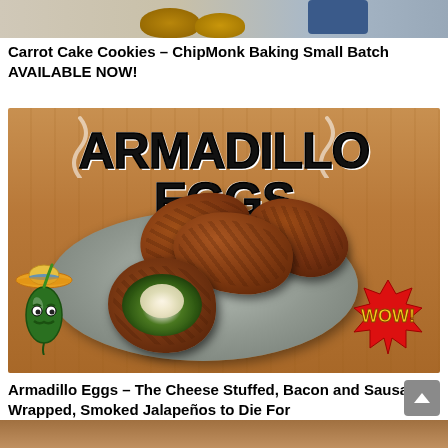[Figure (photo): Partial top image of food items and a person, cropped at top of page]
Carrot Cake Cookies – ChipMonk Baking Small Batch AVAILABLE NOW!
[Figure (photo): Armadillo Eggs recipe photo: bacon and sausage wrapped jalapeños on a plate, with comic-style text overlay 'ARMADILLO EGGS', decorative jalapeño character with sombrero, and 'WOW!' burst graphic]
Armadillo Eggs – The Cheese Stuffed, Bacon and Sausage Wrapped, Smoked Jalapeños to Die For
[Figure (photo): Partial bottom strip image, cropped at bottom of page]